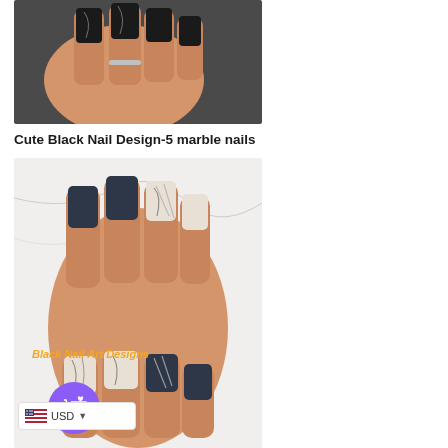[Figure (photo): Close-up of a hand with long black square nails featuring marble design on a grey textured background]
Cute Black Nail Design-5 marble nails
[Figure (photo): Hand with black and grey/white square nails in marble design on white marble background, with orange italic text overlay 'Black Nail Art Designs', and a purple shopping cart button and USD currency selector in lower left]
Black Nail Art Designs
USD